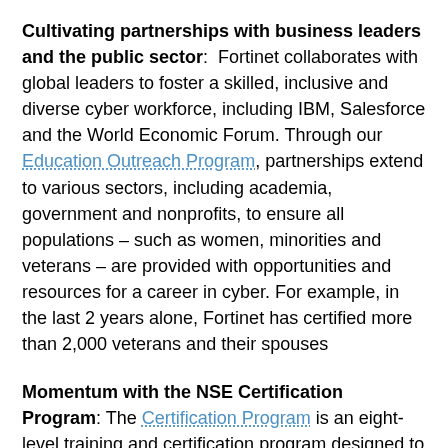Cultivating partnerships with business leaders and the public sector: Fortinet collaborates with global leaders to foster a skilled, inclusive and diverse cyber workforce, including IBM, Salesforce and the World Economic Forum. Through our Education Outreach Program, partnerships extend to various sectors, including academia, government and nonprofits, to ensure all populations – such as women, minorities and veterans – are provided with opportunities and resources for a career in cyber. For example, in the last 2 years alone, Fortinet has certified more than 2,000 veterans and their spouses
Momentum with the NSE Certification Program: The Certification Program is an eight-level training and certification program designed to provide technical professionals with independent validation of their network security skills and experience. With more than 680,000 certifications issued and more than 1 million hours of training consumed from the onset of the pandemic to now alone, the award-winning NSE